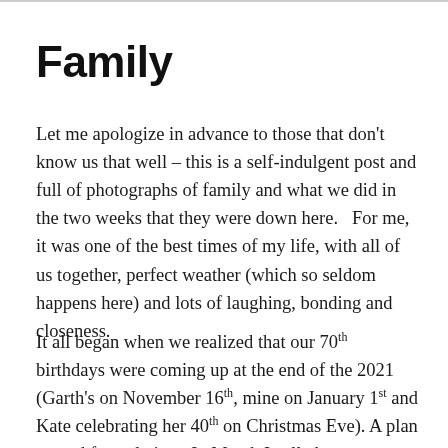Family
Let me apologize in advance to those that don’t know us that well – this is a self-indulgent post and full of photographs of family and what we did in the two weeks that they were down here.   For me, it was one of the best times of my life, with all of us together, perfect weather (which so seldom happens here) and lots of laughing, bonding and closeness.
It all began when we realized that our 70th birthdays were coming up at the end of the 2021 (Garth’s on November 16th, mine on January 1st and Kate celebrating her 40th on Christmas Eve). A plan started formulating.  In March I called...